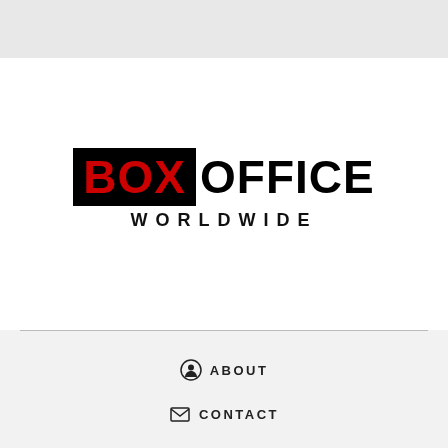[Figure (logo): Box Office Worldwide logo: black rectangle containing red bold text 'BOX' followed by black bold text 'OFFICE', with 'WORLDWIDE' in bold spaced uppercase below]
ABOUT
CONTACT